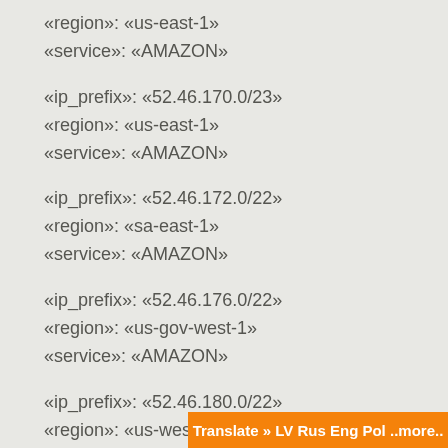«region»: «us-east-1»
«service»: «AMAZON»
«ip_prefix»: «52.46.170.0/23»
«region»: «us-east-1»
«service»: «AMAZON»
«ip_prefix»: «52.46.172.0/22»
«region»: «sa-east-1»
«service»: «AMAZON»
«ip_prefix»: «52.46.176.0/22»
«region»: «us-gov-west-1»
«service»: «AMAZON»
«ip_prefix»: «52.46.180.0/22»
«region»: «us-west-2»
«service»: «AMAZON»
Translate » LV Rus Eng Pol ..more..